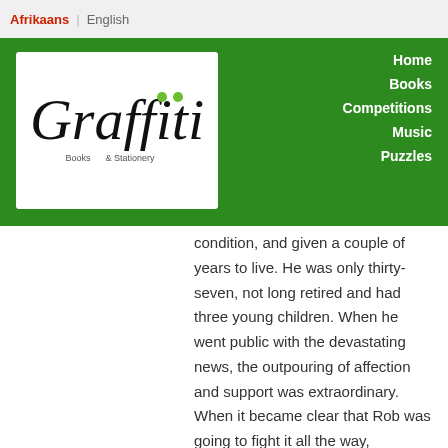Afrikaans | English
[Figure (logo): Graffiti Books & Stationery logo - black handwritten style lettering with two green dots, on white background]
Home Books Competitions Music Puzzles
condition, and given a couple of years to live. He was only thirty-seven, not long retired and had three young children. When he went public with the devastating news, the outpouring of affection and support was extraordinary. When it became clear that Rob was going to fight it all the way, sympathy turned to awe. This is the story of a tiny kid who adored rugby league but never should have made it - and ended up in the Leeds hall of fame. It's the story of a man who resolved to turn a terrible present into something positive - when he could have